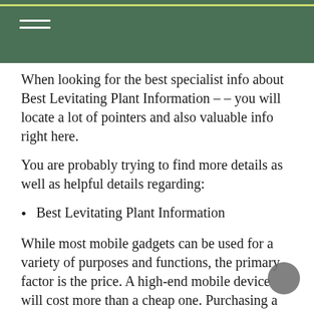When looking for the best specialist info about Best Levitating Plant Information – – you will locate a lot of pointers and also valuable info right here.
You are probably trying to find more details as well as helpful details regarding:
Best Levitating Plant Information
While most mobile gadgets can be used for a variety of purposes and functions, the primary factor is the price. A high-end mobile device will cost more than a cheap one. Purchasing a smart